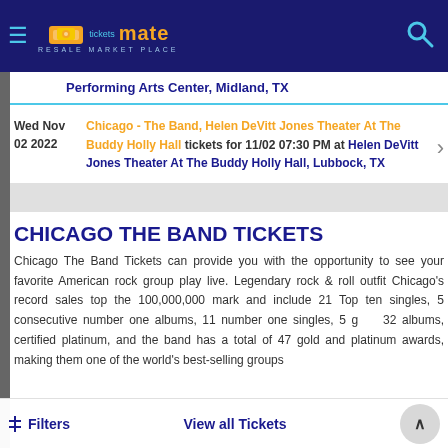ticketsmate RESALE MARKET PLACE
Performing Arts Center, Midland, TX
Wed Nov 02 2022
Chicago - The Band, Helen DeVitt Jones Theater At The Buddy Holly Hall tickets for 11/02 07:30 PM at Helen DeVitt Jones Theater At The Buddy Holly Hall, Lubbock, TX
CHICAGO THE BAND TICKETS
Chicago The Band Tickets can provide you with the opportunity to see your favorite American rock group play live. Legendary rock & roll outfit Chicago's record sales top the 100,000,000 mark and include 21 Top ten singles, 5 consecutive number one albums, 11 number one singles, 5 gold, 32 albums, certified platinum, and the band has a total of 47 gold and platinum awards, making them one of the world's best-selling groups
Filters | View all Tickets